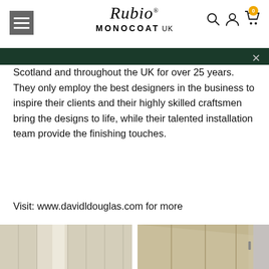Rubio Monocoat UK — navigation header
Scotland and throughout the UK for over 25 years. They only employ the best designers in the business to inspire their clients and their highly skilled craftsmen bring the designs to life, while their talented installation team provide the finishing touches.
Visit: www.davidldouglas.com for more
[Figure (photo): Two side-by-side interior photos showing light wood paneling — left panel shows vertical timber wall cladding with a window, right panel shows a built-in wardrobe or storage unit with similar wood paneling]